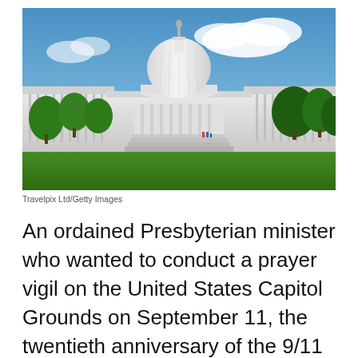[Figure (photo): Photograph of the United States Capitol building on a sunny day with blue sky and green lawn in the foreground. Several trees are visible on either side.]
Travelpix Ltd/Getty Images
An ordained Presbyterian minister who wanted to conduct a prayer vigil on the United States Capitol Grounds on September 11, the twentieth anniversary of the 9/11 terrorist attacks, is suing the